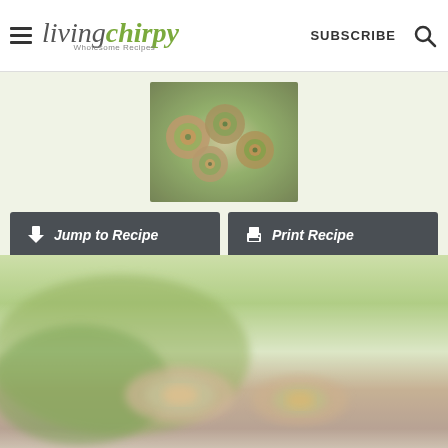living chirpy — Wholesome Recipes | SUBSCRIBE | Search
[Figure (photo): Rolled zucchini/salmon pinwheels on a plate, viewed from above]
Jump to Recipe | Print Recipe
[Figure (photo): Close-up blurred photo of zucchini roll-ups with cream cheese and salmon filling on a green cloth]